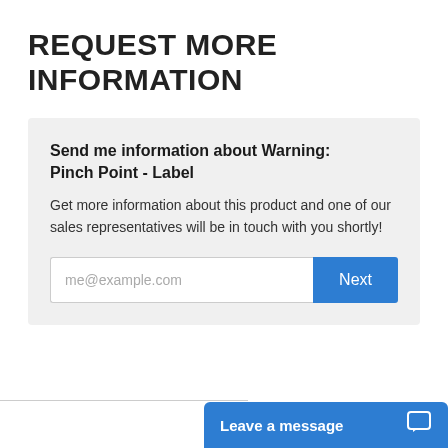REQUEST MORE INFORMATION
Send me information about Warning: Pinch Point - Label
Get more information about this product and one of our sales representatives will be in touch with you shortly!
me@example.com
Next
Leave a message